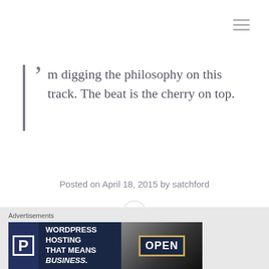☰
’m digging the philosophy on this track. The beat is the cherry on top.
Posted on April 18, 2015 by satchford
0
Advertisements
[Figure (other): WordPress Hosting advertisement banner: dark navy background with P icon, text 'WORDPRESS HOSTING THAT MEANS BUSINESS.' and a photo of an OPEN sign]